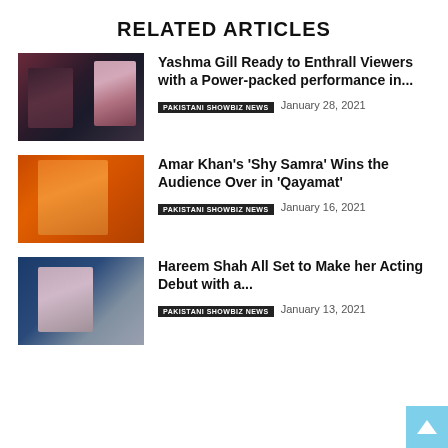RELATED ARTICLES
[Figure (photo): Two women in a dimly lit setting, one posing for the camera]
Yashma Gill Ready to Enthrall Viewers with a Power-packed performance in...
PAKISTANI SHOWBIZ NEWS   January 28, 2021
[Figure (photo): Woman in orange traditional attire with gold jewelry]
Amar Khan's 'Shy Samra' Wins the Audience Over in 'Qayamat'
PAKISTANI SHOWBIZ NEWS   January 16, 2021
[Figure (photo): Woman sitting at a desk writing or signing something]
Hareem Shah All Set to Make her Acting Debut with a...
PAKISTANI SHOWBIZ NEWS   January 13, 2021